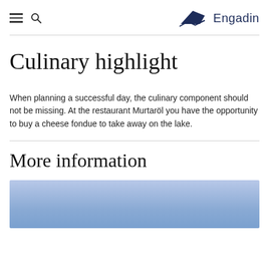Engadin
Culinary highlight
When planning a successful day, the culinary component should not be missing. At the restaurant Murtaröl you have the opportunity to buy a cheese fondue to take away on the lake.
More information
[Figure (photo): Blue sky with light gradient, appearing to show a lake or outdoor scene]